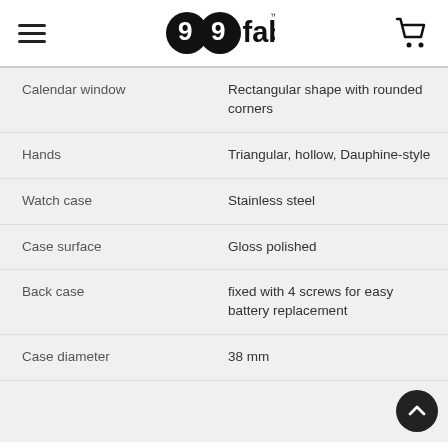99fab logo, hamburger menu, cart icon
| Feature | Value |
| --- | --- |
| Calendar window | Rectangular shape with rounded corners |
| Hands | Triangular, hollow, Dauphine-style |
| Watch case | Stainless steel |
| Case surface | Gloss polished |
| Back case | fixed with 4 screws for easy battery replacement |
| Case diameter | 38 mm |